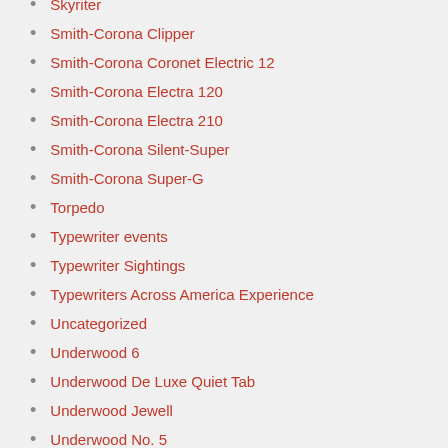Skyriter
Smith-Corona Clipper
Smith-Corona Coronet Electric 12
Smith-Corona Electra 120
Smith-Corona Electra 210
Smith-Corona Silent-Super
Smith-Corona Super-G
Torpedo
Typewriter events
Typewriter Sightings
Typewriters Across America Experience
Uncategorized
Underwood 6
Underwood De Luxe Quiet Tab
Underwood Jewell
Underwood No. 5
Underwood Standard Portable